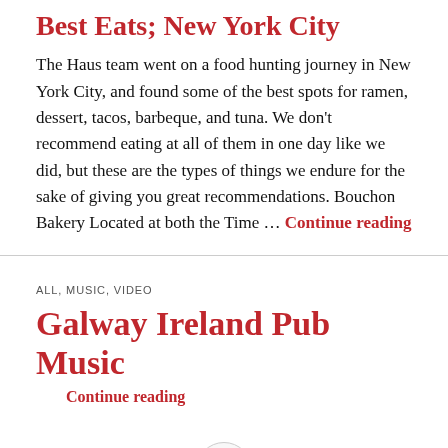Best Eats; New York City
The Haus team went on a food hunting journey in New York City, and found some of the best spots for ramen, dessert, tacos, barbeque, and tuna. We don't recommend eating at all of them in one day like we did, but these are the types of things we endure for the sake of giving you great recommendations. Bouchon Bakery Located at both the Time … Continue reading
ALL, MUSIC, VIDEO
Galway Ireland Pub Music
Continue reading